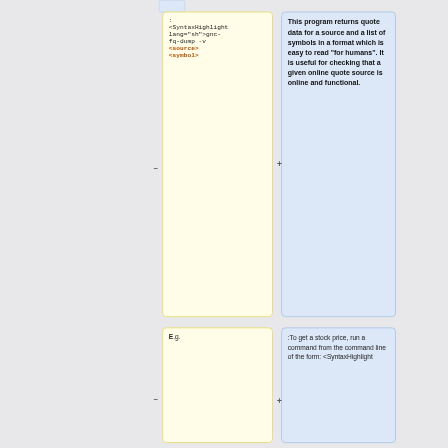: <SyntaxHighlight lang="sh">gnc-fq-dump -v <source> <symbol>
This program returns quote data for a source and a list of symbols in a format which is easy to read "for humans". It is useful for checking that a given online quote source is online and functional.
E.g.
:To get a stock price, run a command from the command line of the form: <SyntaxHighlight